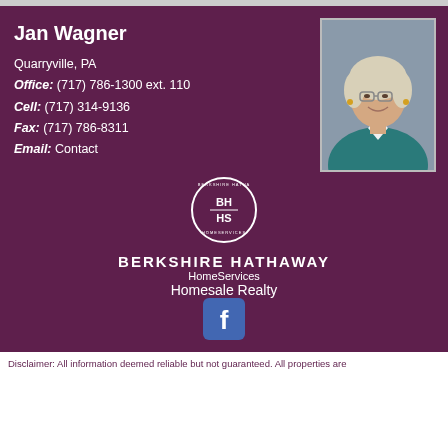Jan Wagner
Quarryville, PA
Office: (717) 786-1300 ext. 110
Cell: (717) 314-9136
Fax: (717) 786-8311
Email: Contact
[Figure (photo): Professional headshot of Jan Wagner, a woman with short blonde/white hair and glasses, wearing a teal blazer with white collar, smiling.]
[Figure (logo): Berkshire Hathaway HomeServices circular logo with BH HS text inside]
BERKSHIRE HATHAWAY
HomeServices
Homesale Realty
[Figure (logo): Facebook icon - white f on blue rounded square background]
Disclaimer: All information deemed reliable but not guaranteed. All properties are